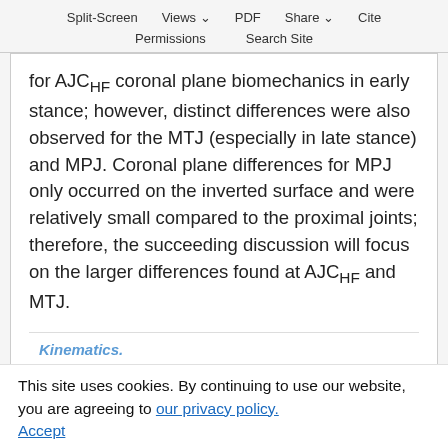Split-Screen   Views   PDF   Share   Cite
Permissions   Search Site
for AJC_HF coronal plane biomechanics in early stance; however, distinct differences were also observed for the MTJ (especially in late stance) and MPJ. Coronal plane differences for MPJ only occurred on the inverted surface and were relatively small compared to the proximal joints; therefore, the succeeding discussion will focus on the larger differences found at AJC_HF and MTJ.
Kinematics.
The MSEM angles on a flush surface were similar in shape and RoM to those reported in prior study using the same model [24] and other
This site uses cookies. By continuing to use our website, you are agreeing to our privacy policy. Accept